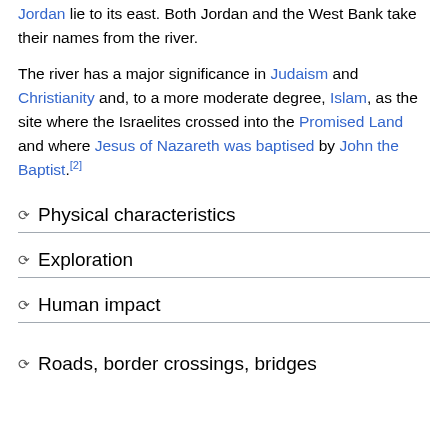Jordan lie to its east. Both Jordan and the West Bank take their names from the river.
The river has a major significance in Judaism and Christianity and, to a more moderate degree, Islam, as the site where the Israelites crossed into the Promised Land and where Jesus of Nazareth was baptised by John the Baptist.[2]
Physical characteristics
Exploration
Human impact
Roads, border crossings, bridges